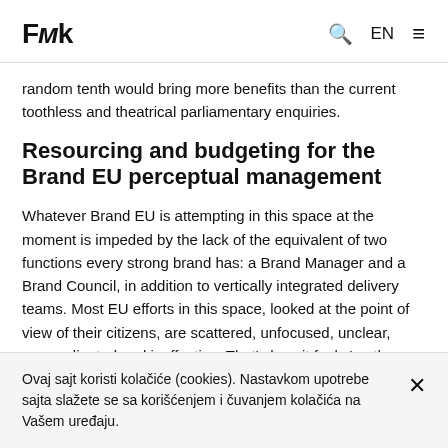FMk  Q  EN  ☰
random tenth would bring more benefits than the current toothless and theatrical parliamentary enquiries.
Resourcing and budgeting for the Brand EU perceptual management
Whatever Brand EU is attempting in this space at the moment is impeded by the lack of the equivalent of two functions every strong brand has: a Brand Manager and a Brand Council, in addition to vertically integrated delivery teams. Most EU efforts in this space, looked at the point of view of their citizens, are scattered, unfocused, unclear, uncoordinated and ineffective. That's how it feels 'on the ground', at the point of reception. At
Ovaj sajt koristi kolačiće (cookies). Nastavkom upotrebe sajta slažete se sa korišćenjem i čuvanjem kolačića na Vašem uređaju.